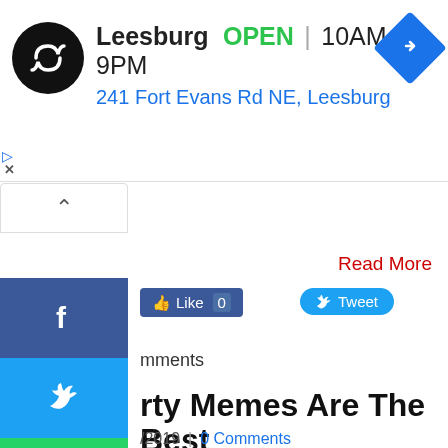[Figure (screenshot): Ad banner: store logo (circular black icon with infinity-like symbol), store name Leesburg, OPEN status, hours 10AM-9PM, address 241 Fort Evans Rd NE Leesburg, navigation diamond icon (blue)]
[Figure (screenshot): Web page UI showing social share sidebar (Facebook, Twitter, WhatsApp, Instagram, Messenger, More buttons), Facebook Like button with count 0, Tweet button, comments link, article title partially visible 'rty Memes Are The Best', date 2019, 0 Comments link, meme image with text 'ifferent types of silencers']
Read More
Like 0
Tweet
mments
rty Memes Are The Best
2019 | 0 Comments
ifferent types of silencers